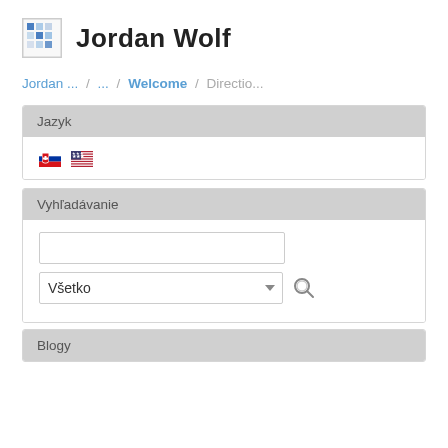Jordan Wolf
Jordan ... / ... / Welcome / Directio...
Jazyk
[Figure (other): Slovak and US flag icons for language selection]
Vyhľadávanie
[Figure (other): Search interface with text input, dropdown selector set to 'Všetko', and search button]
Blogy